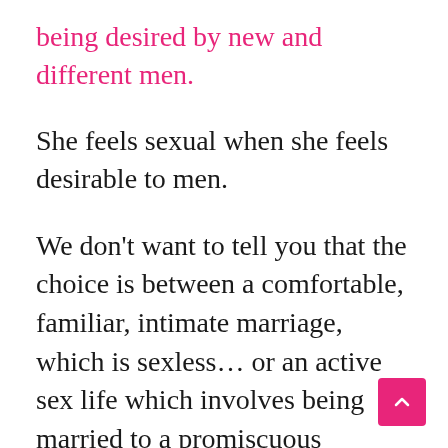being desired by new and different men.
She feels sexual when she feels desirable to men.
We don't want to tell you that the choice is between a comfortable, familiar, intimate marriage, which is sexless… or an active sex life which involves being married to a promiscuous woman.